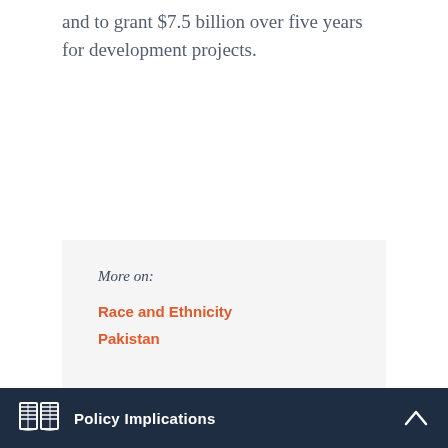and to grant $7.5 billion over five years for development projects.
More on:
Race and Ethnicity
Pakistan
Policy Implications